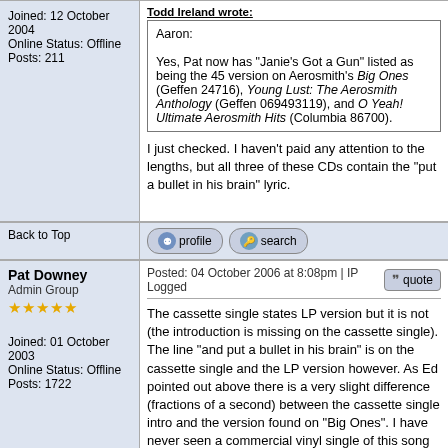Joined: 12 October 2004
Online Status: Offline
Posts: 211
Todd Ireland wrote:
Aaron:
Yes, Pat now has "Janie's Got a Gun" listed as being the 45 version on Aerosmith's Big Ones (Geffen 24716), Young Lust: The Aerosmith Anthology (Geffen 069493119), and O Yeah! Ultimate Aerosmith Hits (Columbia 86700).
I just checked. I haven't paid any attention to the lengths, but all three of these CDs contain the "put a bullet in his brain" lyric.
Back to Top
Pat Downey
Admin Group
Joined: 01 October 2003
Online Status: Offline
Posts: 1722
Posted: 04 October 2006 at 8:08pm | IP Logged
The cassette single states LP version but it is not (the introduction is missing on the cassette single). The line "and put a bullet in his brain" is on the cassette single and the LP version however. As Ed pointed out above there is a very slight difference (fractions of a second) between the cassette single intro and the version found on "Big Ones". I have never seen a commercial vinyl single of this song nor a dj vinyl single.
Back to Top